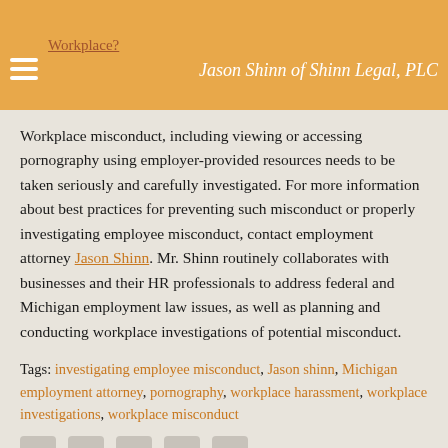Workplace? Jason Shinn of Shinn Legal, PLC
Workplace misconduct, including viewing or accessing pornography using employer-provided resources needs to be taken seriously and carefully investigated. For more information about best practices for preventing such misconduct or properly investigating employee misconduct, contact employment attorney Jason Shinn. Mr. Shinn routinely collaborates with businesses and their HR professionals to address federal and Michigan employment law issues, as well as planning and conducting workplace investigations of potential misconduct.
Tags: investigating employee misconduct, Jason shinn, Michigan employment attorney, pomography, workplace harassment, workplace investigations, workplace misconduct